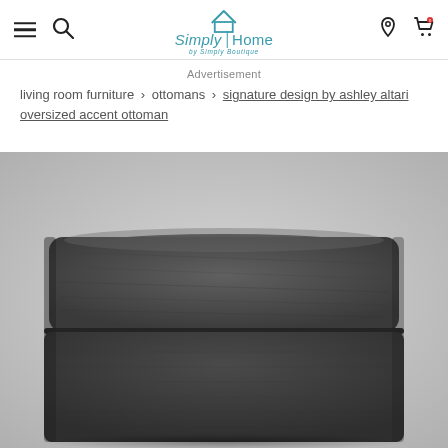Simply Home by Simply Boutique — navigation bar with hamburger menu, search, logo, location pin, cart
Advertisement
living room furniture > ottomans > signature design by ashley altari oversized accent ottoman
[Figure (photo): Dark charcoal grey fabric oversized accent ottoman photographed from a low front angle, showing the top cushion with piping detail and the lower base section. The fabric has a textured chenille or velvet-like appearance.]